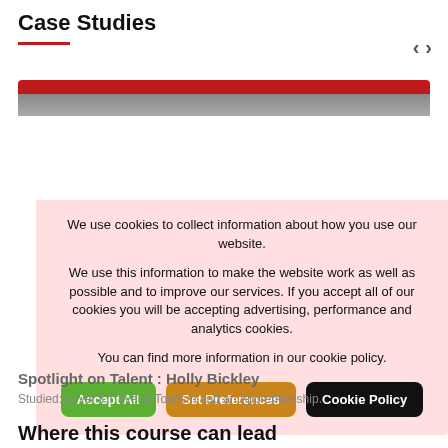Case Studies
[Figure (screenshot): Cookie consent overlay dialog on a website, with pink/red semi-transparent background, showing cookie policy text and three buttons: Accept All (green), Set Preferences (orange/amber), Cookie Policy (black).]
We use cookies to collect information about how you use our website.

We use this information to make the website work as well as possible and to improve our services. If you accept all of our cookies you will be accepting advertising, performance and analytics cookies.

You can find more information in our cookie policy.
Spotlight on Talent : Holly Bickley
Studied: Level 3 Travel & Tourism and an Apprenticeship...
Where this course can lead